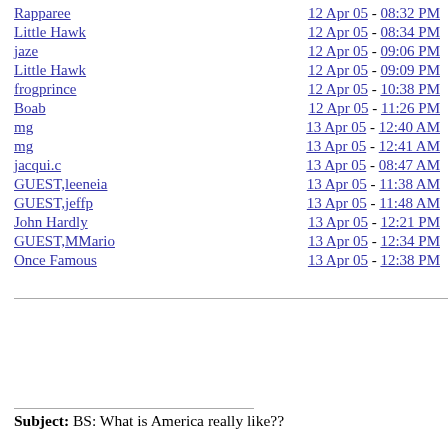Rapparee — 12 Apr 05 - 08:32 PM
Little Hawk — 12 Apr 05 - 08:34 PM
jaze — 12 Apr 05 - 09:06 PM
Little Hawk — 12 Apr 05 - 09:09 PM
frogprince — 12 Apr 05 - 10:38 PM
Boab — 12 Apr 05 - 11:26 PM
mg — 13 Apr 05 - 12:40 AM
mg — 13 Apr 05 - 12:41 AM
jacqui.c — 13 Apr 05 - 08:47 AM
GUEST,leeneia — 13 Apr 05 - 11:38 AM
GUEST,jeffp — 13 Apr 05 - 11:48 AM
John Hardly — 13 Apr 05 - 12:21 PM
GUEST,MMario — 13 Apr 05 - 12:34 PM
Once Famous — 13 Apr 05 - 12:38 PM
Subject: BS: What is America really like??